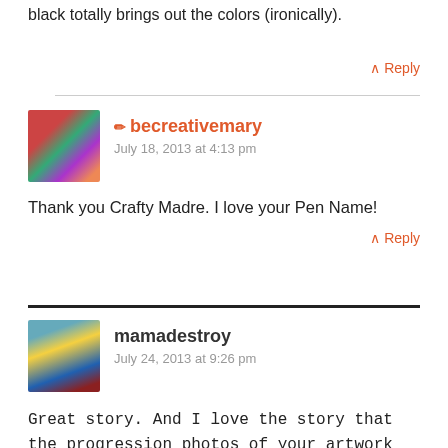black totally brings out the colors (ironically).
↑ Reply
✏ becreativemary
July 18, 2013 at 4:13 pm
Thank you Crafty Madre. I love your Pen Name!
↑ Reply
mamadestroy
July 24, 2013 at 9:26 pm
Great story. And I love the story that the progression photos of your artwork tells. Adding a little black to those bright, happy colors adding some edge and sophistication. Thanks for sharing.